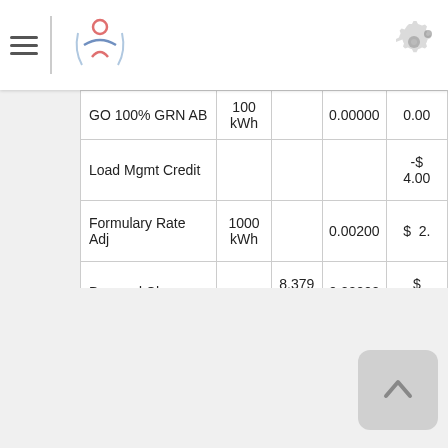Navigation bar with hamburger menu, logo, and settings gear icon
| Description | kWh/kW | kW | Rate | Amount |
| --- | --- | --- | --- | --- |
| GO 100% GRN AB | 100 kWh |  | 0.00000 | 0.00 |
| Load Mgmt Credit |  |  |  | -$ 4.00 |
| Formulary Rate Adj | 1000 kWh |  | 0.00200 | $ 2. |
| Demand Charge |  | 8.379 kW | 0.00000 | $ 0.00 |
|  |  |  |  |  |
|  |  |  |  |  |
| Current Charges D |  |  |  | $123 |